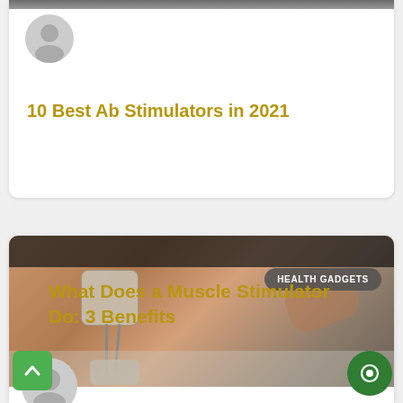[Figure (photo): Partially visible top card with avatar placeholder and article image at top]
10 Best Ab Stimulators in 2021
[Figure (photo): Photo of a muscle stimulator electrode pad attached to a person's leg/thigh, with a hand adjusting it, on a medical table. Badge reads HEALTH GADGETS.]
What Does a Muscle Stimulator Do: 3 Benefits